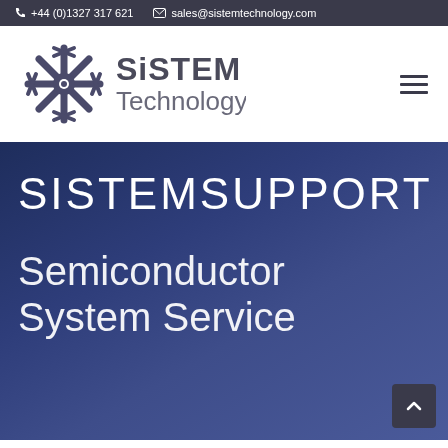+44 (0)1327 317 621  sales@sistemtechnology.com
[Figure (logo): SiSTEM Technology logo with stylized asterisk/snowflake icon in dark blue-grey and the text 'SiSTEM Technology' in dark grey]
SISTEMSUPPORT
Semiconductor System Service